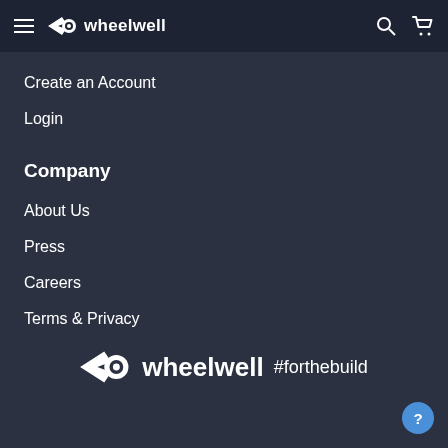wheelwell
Create an Account
Login
Company
About Us
Press
Careers
Terms & Privacy
[Figure (logo): Wheelwell logo with wing icon and text 'wheelwell #forthebuild']